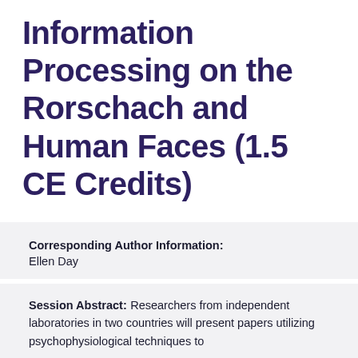Information Processing on the Rorschach and Human Faces (1.5 CE Credits)
Corresponding Author Information: Ellen Day
Session Abstract: Researchers from independent laboratories in two countries will present papers utilizing psychophysiological techniques to